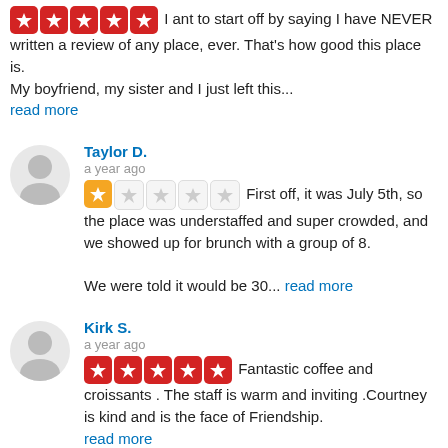I want to start off by saying I have NEVER written a review of any place, ever. That's how good this place is. My boyfriend, my sister and I just left this... read more
Taylor D. a year ago
1 star — First off, it was July 5th, so the place was understaffed and super crowded, and we showed up for brunch with a group of 8.

We were told it would be 30... read more
Kirk S. a year ago
5 stars — Fantastic coffee and croissants . The staff is warm and inviting .Courtney is kind and is the face of Friendship. read more